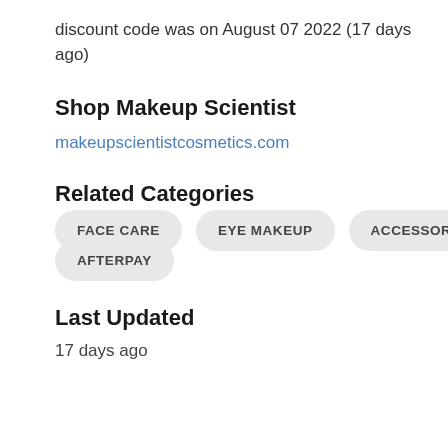discount code was on August 07 2022 (17 days ago)
Shop Makeup Scientist
makeupscientistcosmetics.com
Related Categories
FACE CARE
EYE MAKEUP
ACCESSORIES
AFTERPAY
Last Updated
17 days ago